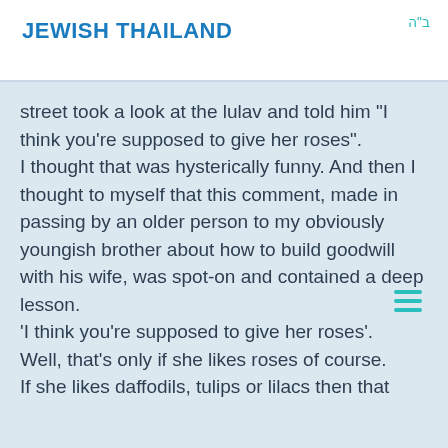JEWISH THAILAND
ב"ה
street took a look at the lulav and told him "I think you're supposed to give her roses".
I thought that was hysterically funny. And then I thought to myself that this comment, made in passing by an older person to my obviously youngish brother about how to build goodwill with his wife, was spot-on and contained a deep lesson.
'I think you're supposed to give her roses'.
Well, that's only if she likes roses of course.
If she likes daffodils, tulips or lilacs then that